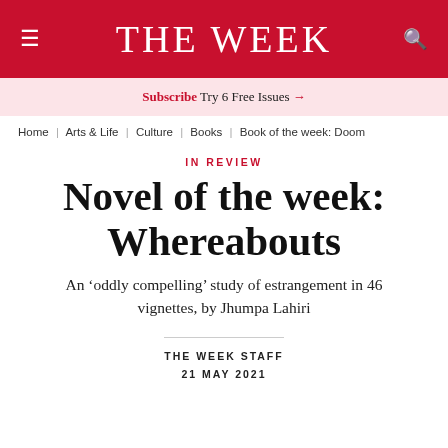THE WEEK
Subscribe Try 6 Free Issues →
Home | Arts & Life | Culture | Books | Book of the week: Doom
IN REVIEW
Novel of the week: Whereabouts
An 'oddly compelling' study of estrangement in 46 vignettes, by Jhumpa Lahiri
THE WEEK STAFF
21 MAY 2021